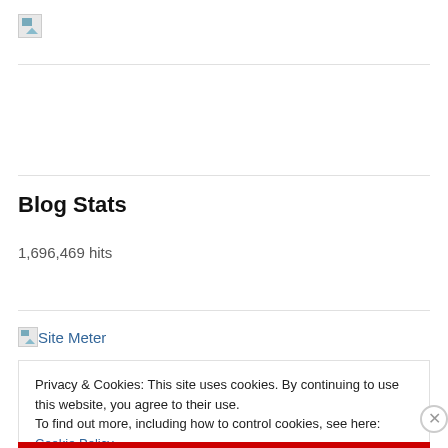[Figure (logo): Broken image placeholder icon in top left]
Blog Stats
1,696,469 hits
[Figure (logo): Site Meter broken image icon with link text 'Site Meter']
Privacy & Cookies: This site uses cookies. By continuing to use this website, you agree to their use.
To find out more, including how to control cookies, see here: Cookie Policy
Close and accept